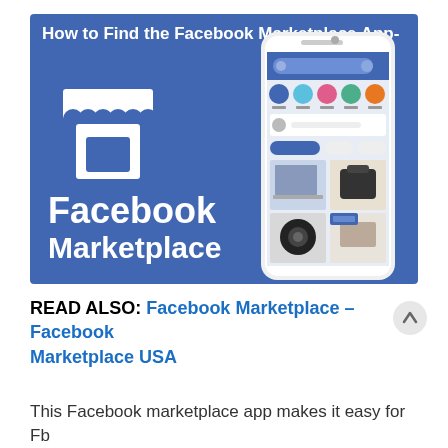[Figure (illustration): Facebook Marketplace promotional banner image showing the text 'How to Find the Facebook Marketplace App-' at the top in white bold on a blue background, a white store/shop awning icon on the left side, and the text 'Facebook Marketplace' in large white bold letters at the bottom left. On the right side is a smartphone mockup showing the Facebook Marketplace app interface with category icons and product listings including a laptop, camera bag, camera, and other items.]
READ ALSO: Facebook Marketplace – Facebook Marketplace USA
This Facebook marketplace app makes it easy for Fb